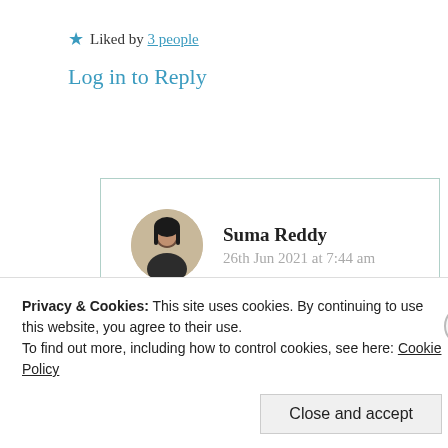★ Liked by 3 people
Log in to Reply
Suma Reddy
26th Jun 2021 at 7:44 am
Glad you liked it and thank you very much for reading and sharinv your
Privacy & Cookies: This site uses cookies. By continuing to use this website, you agree to their use.
To find out more, including how to control cookies, see here: Cookie Policy
Close and accept